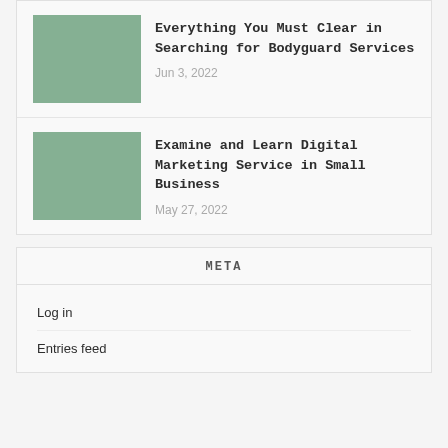[Figure (photo): Green square placeholder thumbnail for blog post]
Everything You Must Clear in Searching for Bodyguard Services
Jun 3, 2022
[Figure (photo): Green square placeholder thumbnail for blog post]
Examine and Learn Digital Marketing Service in Small Business
May 27, 2022
META
Log in
Entries feed